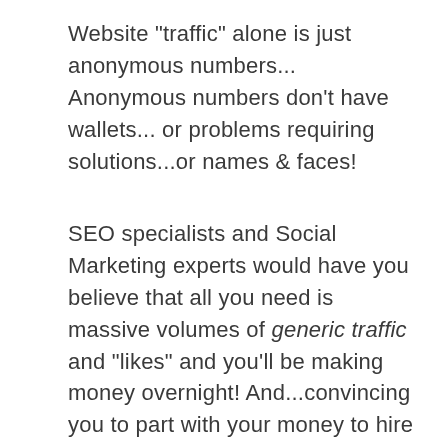Website "traffic" alone is just anonymous numbers... Anonymous numbers don't have wallets... or problems requiring solutions...or names & faces!
SEO specialists and Social Marketing experts would have you believe that all you need is massive volumes of generic traffic and "likes" and you'll be making money overnight! And...convincing you to part with your money to hire them to help you!